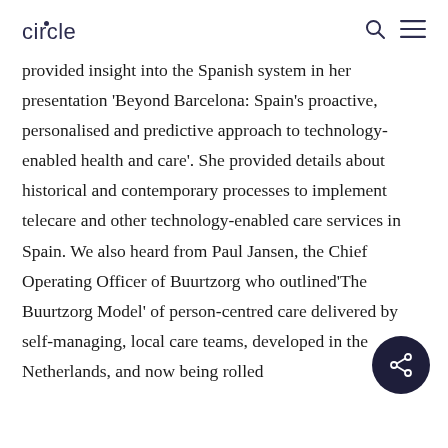circle
provided insight into the Spanish system in her presentation ‘Beyond Barcelona: Spain’s proactive, personalised and predictive approach to technology-enabled health and care’. She provided details about historical and contemporary processes to implement telecare and other technology-enabled care services in Spain. We also heard from Paul Jansen, the Chief Operating Officer of Buurtzorg who outlined‘The Buurtzorg Model’ of person-centred care delivered by self-managing, local care teams, developed in the Netherlands, and now being rolled